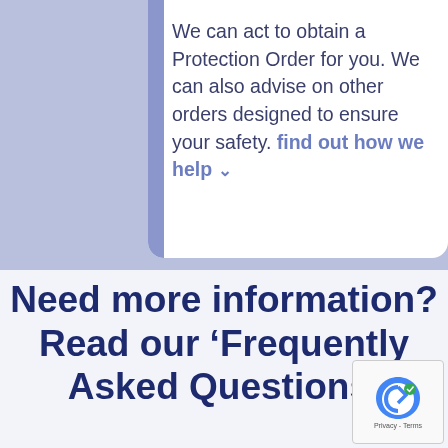We can act to obtain a Protection Order for you. We can also advise on other orders designed to ensure your safety. find out how we help ˅
Need more information? Read our 'Frequently Asked Questions'